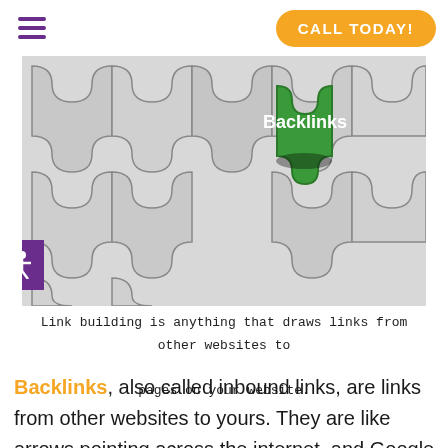CALL TODAY!
[Figure (photo): Puzzle pieces in grey/white interlocked together with one green puzzle piece labeled 'Backlinks' being inserted into the puzzle, seen from above against a light background.]
Link building is anything that draws links from other websites to pages on your website.
Backlinks, also called inbound links, are links from other websites to yours. They are like arrows pointing across the internet, and Google views them as a type